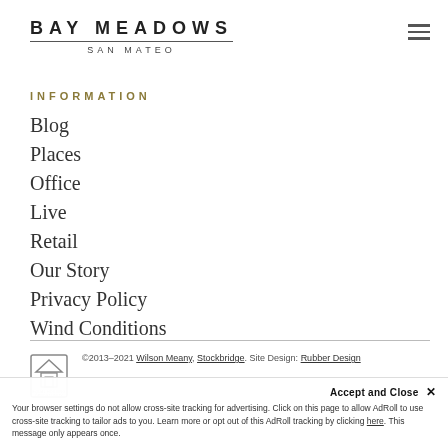BAY MEADOWS SAN MATEO
INFORMATION
Blog
Places
Office
Live
Retail
Our Story
Privacy Policy
Wind Conditions
©2013–2021 Wilson Meany, Stockbridge. Site Design: Rubber Design
Accept and Close ✕
Your browser settings do not allow cross-site tracking for advertising. Click on this page to allow AdRoll to use cross-site tracking to tailor ads to you. Learn more or opt out of this AdRoll tracking by clicking here. This message only appears once.